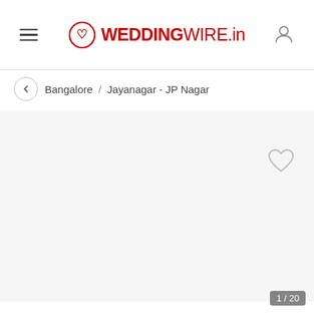WEDDINGWIRE.in
Bangalore / Jayanagar - JP Nagar
[Figure (other): Large photo area (blank/loading) with a heart/favorite icon in top right corner]
1 / 20